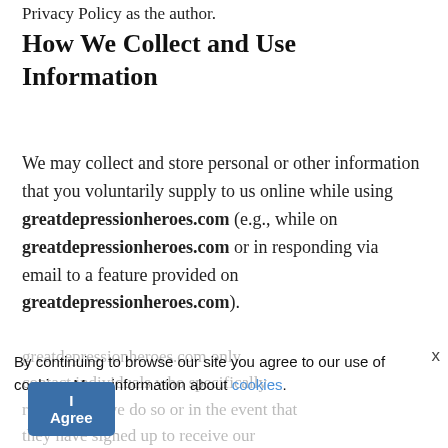Privacy Policy as the author.
How We Collect and Use Information
We may collect and store personal or other information that you voluntarily supply to us online while using greatdepressionheroes.com (e.g., while on greatdepressionheroes.com or in responding via email to a feature provided on greatdepressionheroes.com).
By continuing to browse our site you agree to our use of cookies. More information about cookies.
I Agree